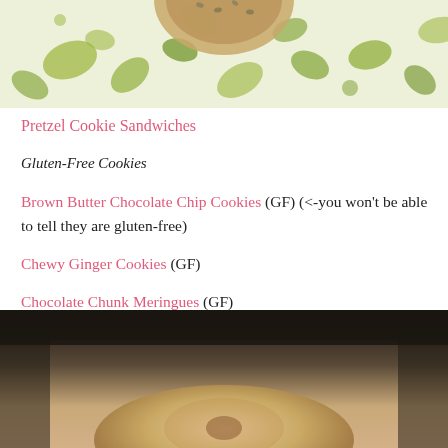[Figure (photo): Top portion of a cookie on a decorative green floral/leaf patterned background, cropped at top of page]
Pretzel Cookie Sandwiches
Gluten-Free Cookies
Brown Butter Chocolate Chip Cookies (GF) (<-you won't be able to tell they are gluten-free)
Chewy Ginger Cookies (GF)
Chocolate Chunk Meringues (GF)
Easy Chocolate Chunk Cookies (GF)
[Figure (photo): Close-up blurred photo of a cookie on a surface, dark blurred background]